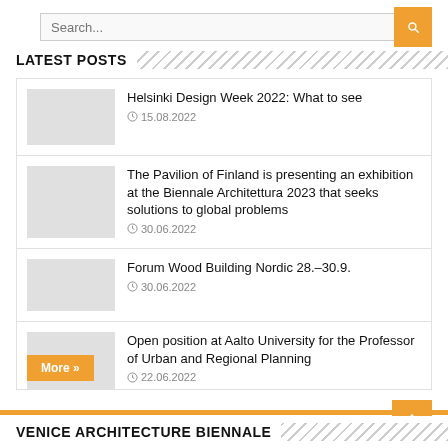LATEST POSTS
Helsinki Design Week 2022: What to see
15.08.2022
The Pavilion of Finland is presenting an exhibition at the Biennale Architettura 2023 that seeks solutions to global problems
30.06.2022
Forum Wood Building Nordic 28.–30.9.
30.06.2022
Open position at Aalto University for the Professor of Urban and Regional Planning
22.06.2022
VENICE ARCHITECTURE BIENNALE